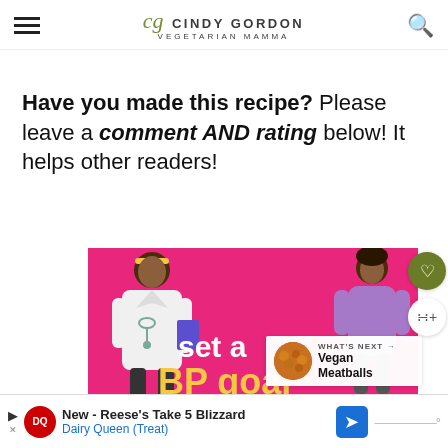Cindy Gordon - Vegetarian Mamma
Have you made this recipe? Please leave a comment AND rating below! It helps other readers!
[Figure (illustration): Illustration of a doctor and patient with pink background and text 'set a BP goal'. Also shows a 'What's Next' overlay with Vegan Meatballs image.]
New - Reese's Take 5 Blizzard Dairy Queen (Treat)